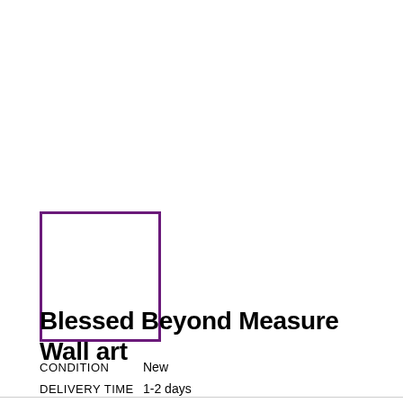[Figure (other): Thumbnail placeholder box with purple border, empty white interior]
Blessed Beyond Measure Wall art
CONDITION   New
DELIVERY TIME 1-2 days